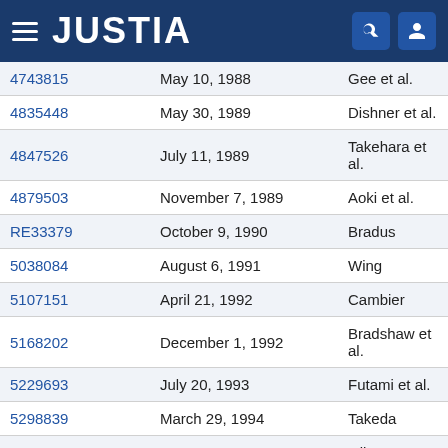JUSTIA
| Patent No. | Date | Inventor |
| --- | --- | --- |
| 4743815 | May 10, 1988 | Gee et al. |
| 4835448 | May 30, 1989 | Dishner et al. |
| 4847526 | July 11, 1989 | Takehara et al. |
| 4879503 | November 7, 1989 | Aoki et al. |
| RE33379 | October 9, 1990 | Bradus |
| 5038084 | August 6, 1991 | Wing |
| 5107151 | April 21, 1992 | Cambier |
| 5168202 | December 1, 1992 | Bradshaw et al. |
| 5229693 | July 20, 1993 | Futami et al. |
| 5298839 | March 29, 1994 | Takeda |
| 5440215 | August 8, 1995 | Gilmore |
| 5563482 | October 8, 1996 | Shaw et al. |